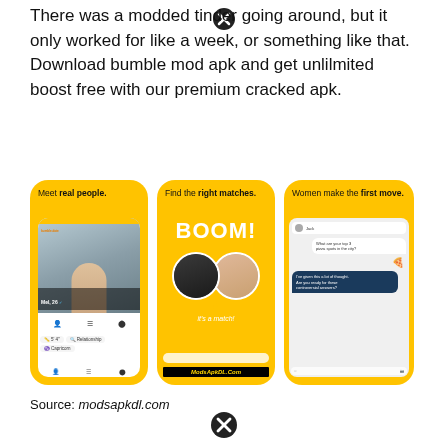There was a modded tinder going around, but it only worked for like a week, or something like that. Download bumble mod apk and get unlilmited boost free with our premium cracked apk.
[Figure (screenshot): Three Bumble app screenshots on yellow background: left shows a dating profile for 'Mel, 26', middle shows 'BOOM! It's a match!' screen, right shows a chat conversation. Bottom center has 'ModsApkDL.Com' watermark label.]
Source: modsapkdl.com